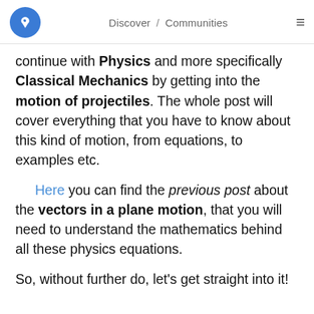Discover / Communities
continue with Physics and more specifically Classical Mechanics by getting into the motion of projectiles. The whole post will cover everything that you have to know about this kind of motion, from equations, to examples etc.
Here you can find the previous post about the vectors in a plane motion, that you will need to understand the mathematics behind all these physics equations.
So, without further do, let's get straight into it!